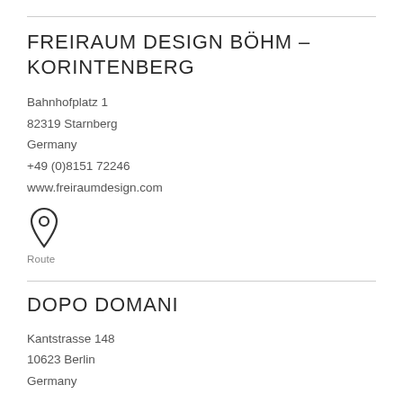FREIRAUM DESIGN BÖHM – KORINTENBERG
Bahnhofplatz 1
82319 Starnberg
Germany
+49 (0)8151 72246
www.freiraumdesign.com
[Figure (illustration): Map pin / location icon (outline style)]
Route
DOPO DOMANI
Kantstrasse 148
10623 Berlin
Germany